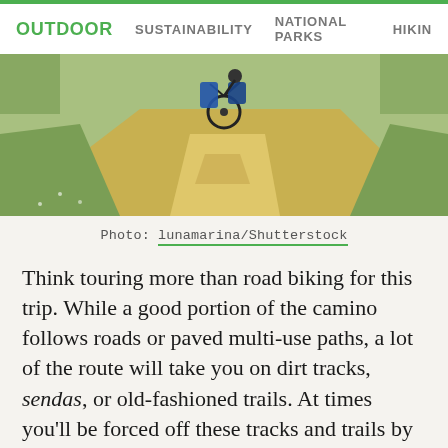OUTDOOR   SUSTAINABILITY   NATIONAL PARKS   HIKING
[Figure (photo): Bicycle with rear panniers on a sandy/gravel dirt trail path with green grass and fields on the sides, viewed from behind]
Photo: lunamarina/Shutterstock
Think touring more than road biking for this trip. While a good portion of the camino follows roads or paved multi-use paths, a lot of the route will take you on dirt tracks, sendas, or old-fashioned trails. At times you'll be forced off these tracks and trails by their rocky disposition or otherwise generally non-bike-friendly nature, and you'll have to find your way, for a time, on nearby roads, which may not be